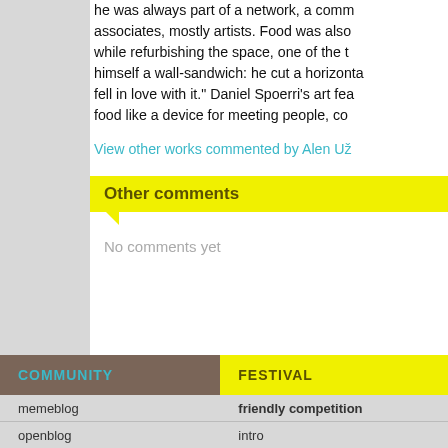he was always part of a network, a community of associates, mostly artists. Food was also a subject: while refurbishing the space, one of the t... himself a wall-sandwich: he cut a horizontal... fell in love with it." Daniel Spoerri's art fea... food like a device for meeting people, co...
View other works commented by Alen Ož...
Other comments
No comments yet
COMMUNITY
FESTIVAL
memeblog
friendly competition
openblog
intro
memembers
critical writing
projects
visual communication practi...
memenews
Beyond